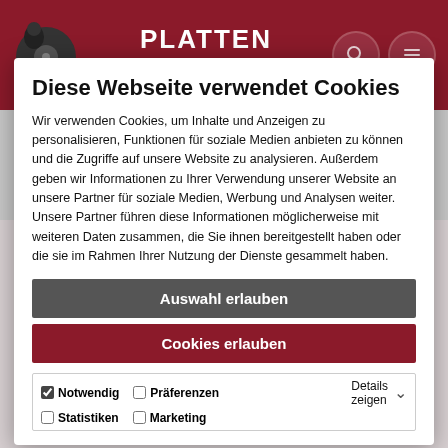[Figure (screenshot): Website header with dark red background showing 'PLATTEN TESTER' logo text, a vinyl record icon on left, search and menu icons on right]
Diese Webseite verwendet Cookies
Wir verwenden Cookies, um Inhalte und Anzeigen zu personalisieren, Funktionen für soziale Medien anbieten zu können und die Zugriffe auf unsere Website zu analysieren. Außerdem geben wir Informationen zu Ihrer Verwendung unserer Website an unsere Partner für soziale Medien, Werbung und Analysen weiter. Unsere Partner führen diese Informationen möglicherweise mit weiteren Daten zusammen, die Sie ihnen bereitgestellt haben oder die sie im Rahmen Ihrer Nutzung der Dienste gesammelt haben.
Auswahl erlauben
Cookies erlauben
Notwendig   Präferenzen   Details zeigen
Statistiken   Marketing